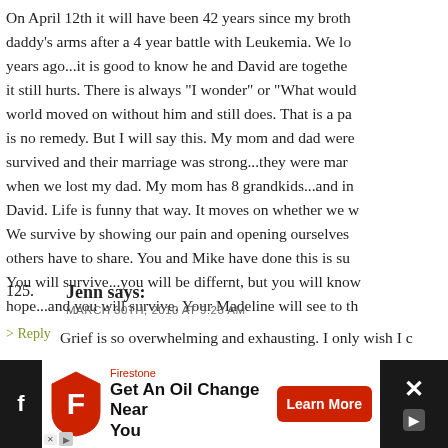On April 12th it will have been 42 years since my broth daddy's arms after a 4 year battle with Leukemia. We lo years ago...it is good to know he and David are togethe it still hurts. There is always "I wonder" or "What would world moved on without him and still does. That is a pa is no remedy. But I will say this. My mom and dad were survived and their marriage was strong...they were mar when we lost my dad. My mom has 8 grandkids...and in David. Life is funny that way. It moves on whether we w We survive by showing our pain and opening ourselves others have to share. You and Mike have done this is su You will survive...you will be differnt, but you will know hope...and you will survive. Your Madeline will see to th
> Reply
125. Jenn says:
MARCH 30TH, 2010 AT 9:23 AM
Grief is so overwhelming and exhausting. I only wish I c
[Figure (other): Firestone advertisement bar: logo shield, 'Get An Oil Change Near You', Learn More button, close X button, dark background sides with Facebook icon]